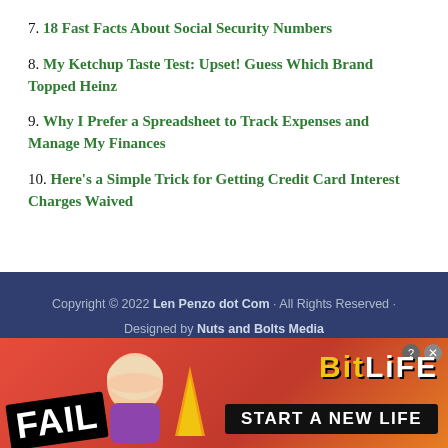7. 18 Fast Facts About Social Security Numbers
8. My Ketchup Taste Test: Upset! Guess Which Brand Topped Heinz
9. Why I Prefer a Spreadsheet to Track Expenses and Manage My Finances
10. Here's a Simple Trick for Getting Credit Card Interest Charges Waived
Copyright © 2022 Len Penzo dot Com · All Rights Reserved · Designed by Nuts and Bolts Media © Len Penzo dot Com 2008–2022
[Figure (illustration): BitLife advertisement banner with FAIL text, cartoon character, flame graphics, and START A NEW LIFE tagline]